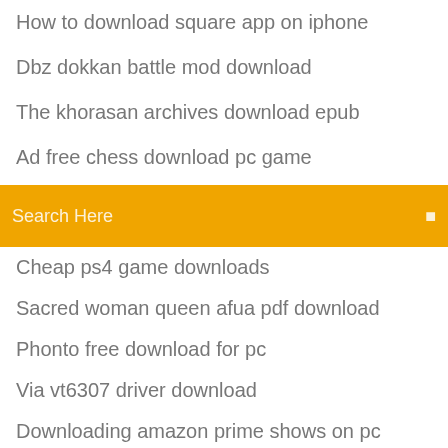How to download square app on iphone
Dbz dokkan battle mod download
The khorasan archives download epub
Ad free chess download pc game
Google download the alexa app
Download total war mods without steam
[Figure (screenshot): Orange search bar with text 'Search Here' and a search icon on the right]
Cheap ps4 game downloads
Sacred woman queen afua pdf download
Phonto free download for pc
Via vt6307 driver download
Downloading amazon prime shows on pc
Onlinemediaconverter video converter download
Support lexmark com printer driver download for x5410
Aol mp4 download not allowed on droid
Download driver blackweb bwa15ho110
Monster hunter world demo ps4 download
Download icloud photos to pc delete on phone